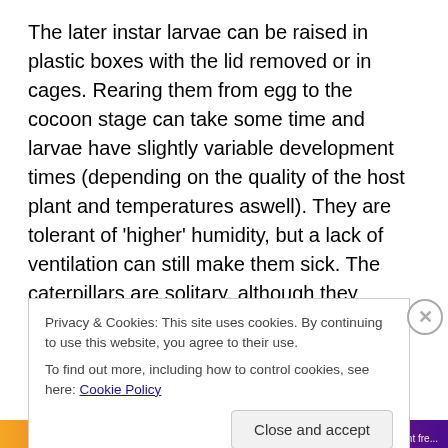The later instar larvae can be raised in plastic boxes with the lid removed or in cages. Rearing them from egg to the cocoon stage can take some time and larvae have slightly variable development times (depending on the quality of the host plant and temperatures aswell). They are tolerant of 'higher' humidity, but a lack of ventilation can still make them sick. The caterpillars are solitary, although they tolerate being reared in moderately high densities, it is best not to overcrowd them as people tend to do with tiger moths.  Compared to most moth species they are rather
Privacy & Cookies: This site uses cookies. By continuing to use this website, you agree to their use.
To find out more, including how to control cookies, see here: Cookie Policy